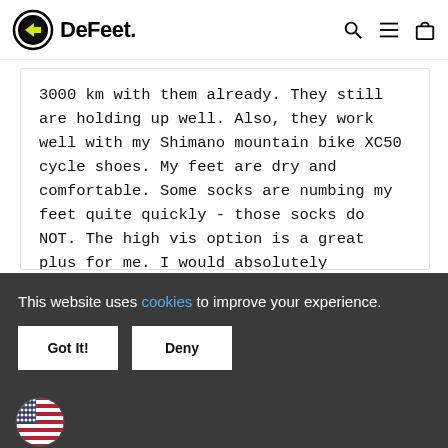DeFeet
3000 km with them already. They still are holding up well. Also, they work well with my Shimano mountain bike XC50 cycle shoes. My feet are dry and comfortable. Some socks are numbing my feet quite quickly - those socks do NOT. The high vis option is a great plus for me. I would absolutely recommend them!
BlauerPlums
This website uses cookies to improve your experience.
Got It!
Deny